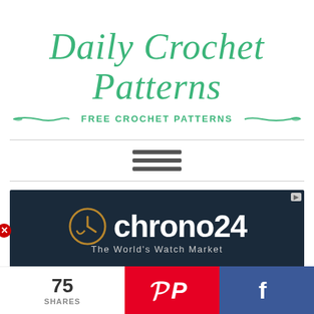Daily Crochet Patterns
FREE CROCHET PATTERNS
[Figure (screenshot): Hamburger menu icon (three horizontal bars)]
[Figure (screenshot): Chrono24 advertisement banner with logo and tagline 'The World's Watch Market']
75 SHARES
[Figure (screenshot): Pinterest share button (red background with P icon)]
[Figure (screenshot): Facebook share button (blue background with f icon)]